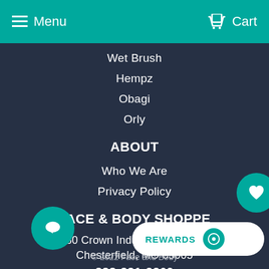Menu  Cart
Wet Brush
Hempz
Obagi
Orly
ABOUT
Who We Are
Privacy Policy
FACE & BODY SHOPPE
680 Crown Industrial Ct. Ste D
Chesterfield, MO 63005
888-331-3369
© 2022 Face and Body